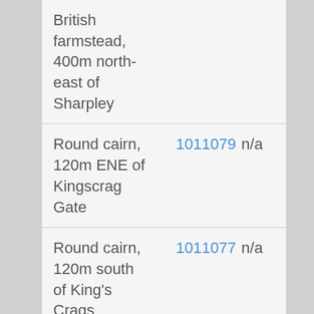| Description | ID | Status |
| --- | --- | --- |
| British farmstead, 400m north-east of Sharpley |  |  |
| Round cairn, 120m ENE of Kingscrag Gate | 1011079 | n/a |
| Round cairn, 120m south of King's Crags | 1011077 | n/a |
| Round cairn, 150m east of Kingscrag | 1011078 | n/a |